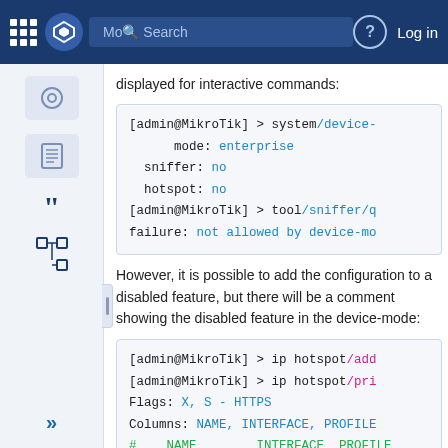Mode | Search | Log in
displayed for interactive commands:
[Figure (screenshot): Code block showing MikroTik CLI output: [admin@MikroTik] > system/device-mode: enterprise, sniffer: no, hotspot: no, [admin@MikroTik] > tool/sniffer/q, failure: not allowed by device-mo]
However, it is possible to add the configuration to a disabled feature, but there will be a comment showing the disabled feature in the device-mode:
[Figure (screenshot): Code block showing MikroTik CLI: [admin@MikroTik] > ip hotspot/add, [admin@MikroTik] > ip hotspot/pri, Flags: X, S - HTTPS, Columns: NAME, INTERFACE, PROFILE, # NAME INTERFACE PROFILE, ::: inactivated, not allowed by d]